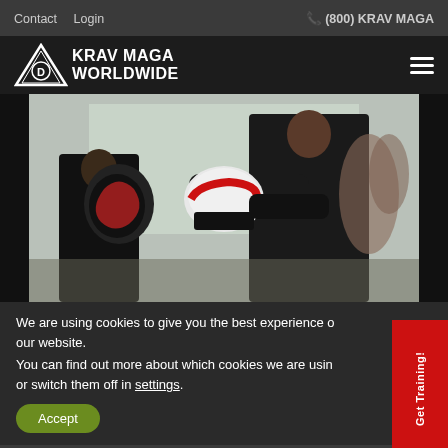Contact  Login  ☎ (800) KRAV MAGA
[Figure (logo): Krav Maga Worldwide logo with triangle/shield and text KRAV MAGA WORLDWIDE]
[Figure (photo): Two people sparring/training in Krav Maga — one person throwing a punch with white gloves at mitts held by training partner, indoors with large windows]
We are using cookies to give you the best experience on our website.
You can find out more about which cookies we are using or switch them off in settings.
Accept